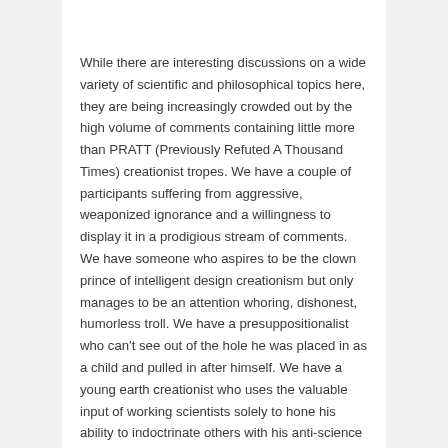While there are interesting discussions on a wide variety of scientific and philosophical topics here, they are being increasingly crowded out by the high volume of comments containing little more than PRATT (Previously Refuted A Thousand Times) creationist tropes. We have a couple of participants suffering from aggressive, weaponized ignorance and a willingness to display it in a prodigious stream of comments. We have someone who aspires to be the clown prince of intelligent design creationism but only manages to be an attention whoring, dishonest, humorless troll. We have a presuppositionalist who can't see out of the hole he was placed in as a child and pulled in after himself. We have a young earth creationist who uses the valuable input of working scientists solely to hone his ability to indoctrinate others with his anti-science beliefs. We have a number of seagull commenters who just fly in, crap all over everything, and leave. And we have a lot of people, myself included, who eventually respond to such prolonged stupidity with frustration.